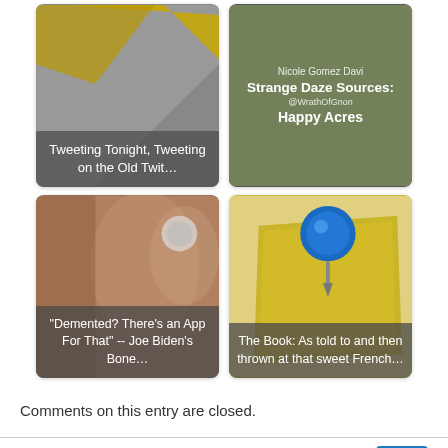[Figure (screenshot): Card 1: Gray background with gold/yellow diagonal shape. Text overlay: 'Tweeting Tonight, Tweeting on the Old Twit…']
[Figure (screenshot): Card 2: Dark background with text overlay. Shows 'Nicole Gomez Davi', 'Strange Daze Sources:', '@WrathOfGnon', 'Happy Acres']
[Figure (screenshot): Card 3: Image of ear/sculpture with app icon. Text overlay: '"Demented? There's an App For That" -- Joe Biden's Bone…']
[Figure (screenshot): Card 4: Push pin / note image. Text overlay: 'The Book: As told to and then thrown at that sweet French…']
Comments on this entry are closed.
jwm